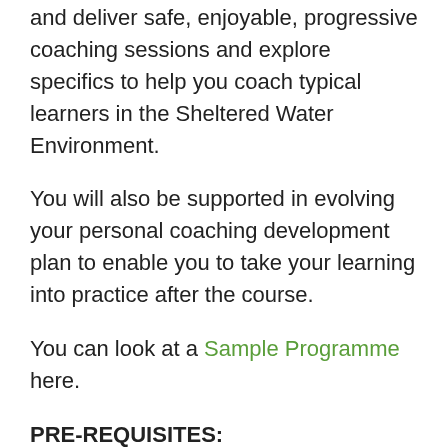and deliver safe, enjoyable, progressive coaching sessions and explore specifics to help you coach typical learners in the Sheltered Water Environment.
You will also be supported in evolving your personal coaching development plan to enable you to take your learning into practice after the course.
You can look at a Sample Programme here.
PRE-REQUISITES:
Full Home Nation Association Membership
Completed British Canoeing Coach Core training